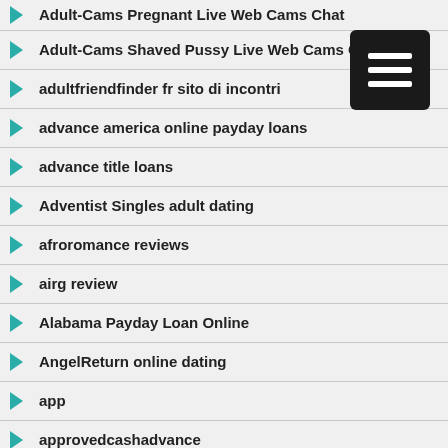Adult-Cams Pregnant Live Web Cams Chat
Adult-Cams Shaved Pussy Live Web Cams Chat
adultfriendfinder fr sito di incontri
advance america online payday loans
advance title loans
Adventist Singles adult dating
afroromance reviews
airg review
Alabama Payday Loan Online
AngelReturn online dating
app
approvedcashadvance